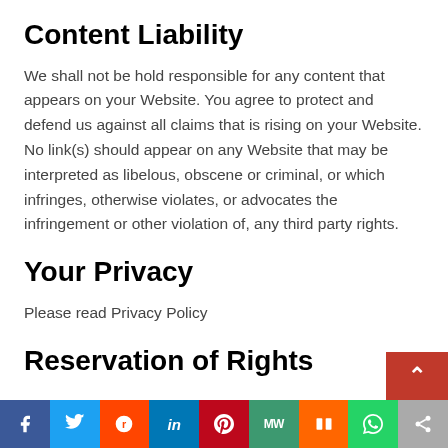Content Liability
We shall not be hold responsible for any content that appears on your Website. You agree to protect and defend us against all claims that is rising on your Website. No link(s) should appear on any Website that may be interpreted as libelous, obscene or criminal, or which infringes, otherwise violates, or advocates the infringement or other violation of, any third party rights.
Your Privacy
Please read Privacy Policy
Reservation of Rights